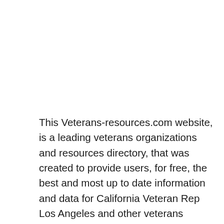This Veterans-resources.com website, is a leading veterans organizations and resources directory, that was created to provide users, for free, the best and most up to date information and data for California Veteran Rep Los Angeles and other veterans organizations and resources information, including phone numbers, addresses, and